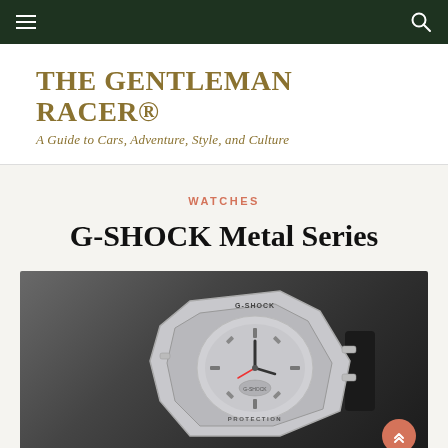Navigation bar with menu and search icons
THE GENTLEMAN RACER®
A Guide to Cars, Adventure, Style, and Culture
WATCHES
G-SHOCK Metal Series
[Figure (photo): G-SHOCK metal series watch on dark gradient background, showing silver octagonal bezel with G-SHOCK branding and detailed dial face]